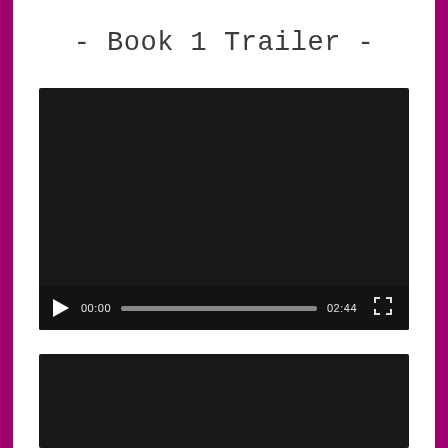- Book 1 Trailer -
[Figure (screenshot): Video player showing a black screen with playback controls: play button, time display '00:00', progress bar, end time '02:44', and fullscreen button.]
[Figure (screenshot): Partially visible second video player with black screen, cropped at the bottom of the page.]